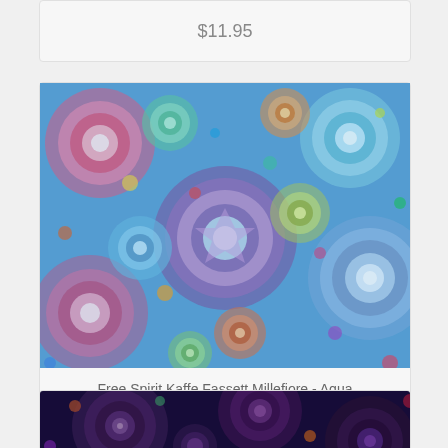$11.95
[Figure (photo): Free Spirit Kaffe Fassett Millefiore fabric in Aqua colorway - colorful circular mandala patterns on blue/aqua background]
Free Spirit Kaffe Fassett Millefiore - Aqua PWGP092.AQUAX
$12.95
[Figure (photo): Free Spirit Kaffe Fassett Millefiore fabric in dark purple/navy colorway - circular mandala patterns]